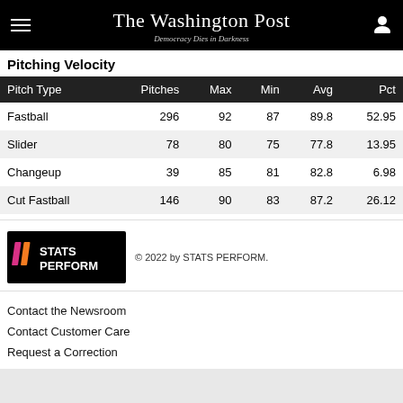The Washington Post — Democracy Dies in Darkness
Pitching Velocity
| Pitch Type | Pitches | Max | Min | Avg | Pct |
| --- | --- | --- | --- | --- | --- |
| Fastball | 296 | 92 | 87 | 89.8 | 52.95 |
| Slider | 78 | 80 | 75 | 77.8 | 13.95 |
| Changeup | 39 | 85 | 81 | 82.8 | 6.98 |
| Cut Fastball | 146 | 90 | 83 | 87.2 | 26.12 |
[Figure (logo): STATS PERFORM logo on black background with pink and orange slash marks]
© 2022 by STATS PERFORM.
Contact the Newsroom
Contact Customer Care
Request a Correction
Send a News Tip
Download The Washington Post App